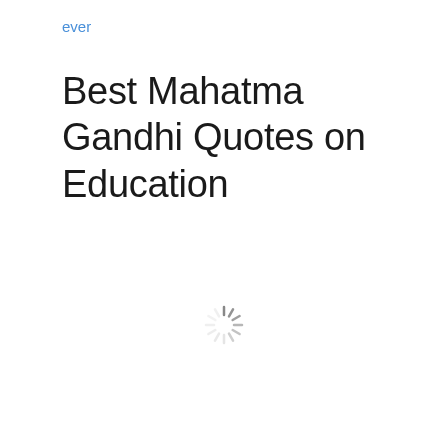ever
Best Mahatma Gandhi Quotes on Education
[Figure (other): Loading spinner / activity indicator graphic]